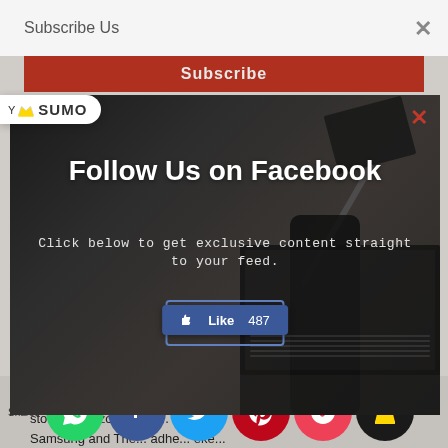Subscribe Us
[Figure (screenshot): Red Subscribe button bar]
[Figure (screenshot): Sumo badge logo with crown icon and text 'SUMO']
[Figure (screenshot): Facebook follow modal overlay with dark background showing desk with laptop, phone, and notebook. Title: 'Follow Us on Facebook'. Subtitle: 'Click below to get exclusive content straight to your feed.' Like button showing 487 likes.]
called HT-350. It comes with a price tag of ₹17,990/- and is available for purchase across all Sony Centre stores and other stores. Amazon table use li... s fe... Samsung and The... adhe... eke...
[Figure (screenshot): Social share bar with icons: Shares, WhatsApp, Facebook, Twitter, Pinterest, Pocket, Sumo crown]